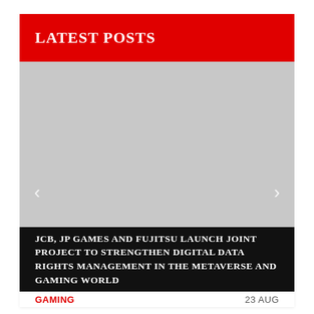LATEST POSTS
[Figure (photo): Gray placeholder image area for a featured post carousel with left and right navigation arrows]
JCB, JP GAMES AND FUJITSU LAUNCH JOINT PROJECT TO STRENGTHEN DIGITAL DATA RIGHTS MANAGEMENT IN THE METAVERSE AND GAMING WORLD
GAMING
23 AUG